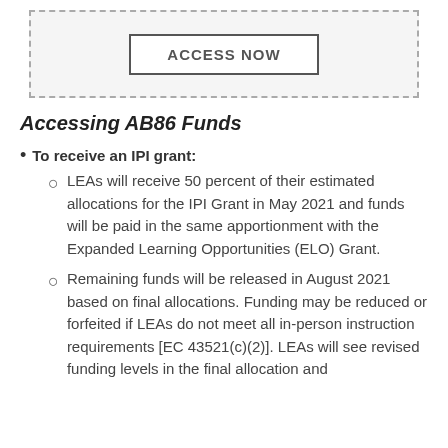[Figure (other): ACCESS NOW button inside a dashed border box]
Accessing AB86 Funds
To receive an IPI grant:
LEAs will receive 50 percent of their estimated allocations for the IPI Grant in May 2021 and funds will be paid in the same apportionment with the Expanded Learning Opportunities (ELO) Grant.
Remaining funds will be released in August 2021 based on final allocations. Funding may be reduced or forfeited if LEAs do not meet all in-person instruction requirements [EC 43521(c)(2)]. LEAs will see revised funding levels in the final allocation and ...